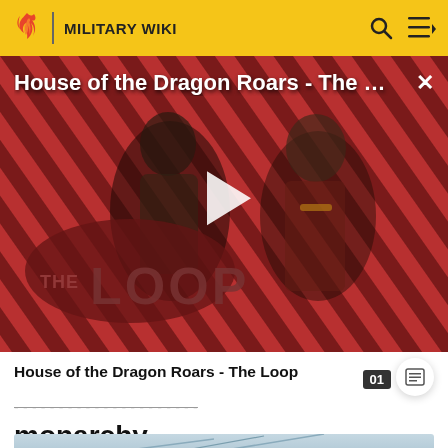MILITARY WIKI
[Figure (screenshot): Video thumbnail for 'House of the Dragon Roars - The Loop' showing two characters against a red diagonal stripe background with The Loop logo overlay and a play button.]
House of the Dragon Roars - The Loop
monarchy